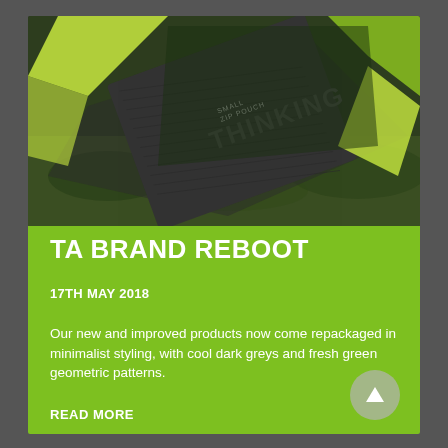[Figure (photo): Dark grey textured zip pouch/notebook with text 'SMALL ZIP POUCH THINKING' on it, placed on green grass with bright green geometric polygon shapes scattered around it.]
TA BRAND REBOOT
17TH MAY 2018
Our new and improved products now come repackaged in minimalist styling, with cool dark greys and fresh green geometric patterns.
READ MORE